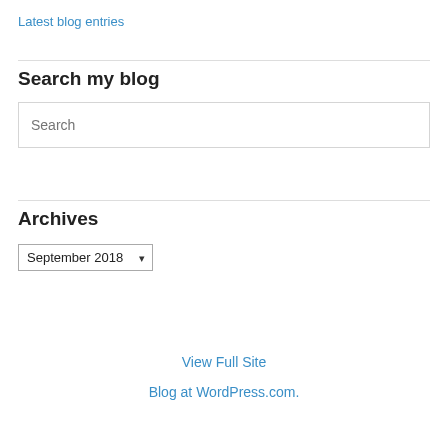Latest blog entries
Search my blog
Archives
September 2018
View Full Site
Blog at WordPress.com.